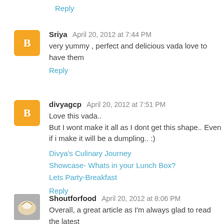Reply
Sriya  April 20, 2012 at 7:44 PM
very yummy , perfect and delicious vada love to have them
Reply
divyagcp  April 20, 2012 at 7:51 PM
Love this vada..
But I wont make it all as I dont get this shape.. Even if i make it will be a dumpling.. :)
Divya's Culinary Journey
Showcase- Whats in your Lunch Box?
Lets Party-Breakfast
Reply
Shoutforfood  April 20, 2012 at 8:06 PM
Overall, a great article as I'm always glad to read the latest